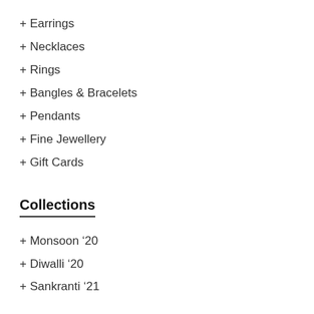+ Earrings
+ Necklaces
+ Rings
+ Bangles & Bracelets
+ Pendants
+ Fine Jewellery
+ Gift Cards
Collections
+ Monsoon ’20
+ Diwalli ’20
+ Sankranti ‘21